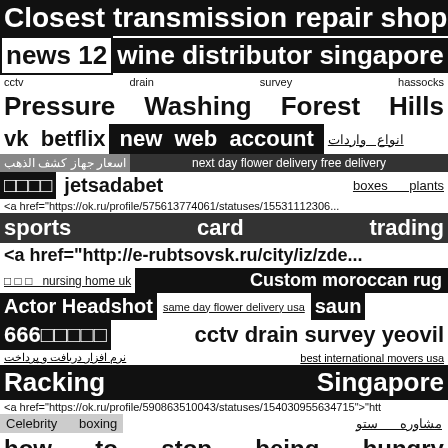Closest transmission repair shop in pho
news 12  wine distributor singapore
cctv    drain    survey    hassocks
Pressure   Washing   Forest   Hills
vk  betflix   new web account   انواع واردات
اسعار جهاز كشف الذهب   next day flower delivery free delivery
□□□□   jetsadabet   boxes   plants
<a href="https://ok.ru/profile/575613774061/statuses/155311123...
sports   card   trading
<a href="http://e-rubtsovsk.ru/city/iz/zde...
□ □ □   nursing home uk   Custom moroccan rug
Actor Headshot   same day flower delivery usa   saun
666□□□□□   cctv drain survey yeovil
نرم افزار دریافت و پرداخت   best international movers usa
Racking   Singapore
<a href="https://ok.ru/profile/590863510043/statuses/154030955634715">"htt
Celebrity   boxing   مشاوره   ستو
how to stop being hungry
swing   dancing   festival